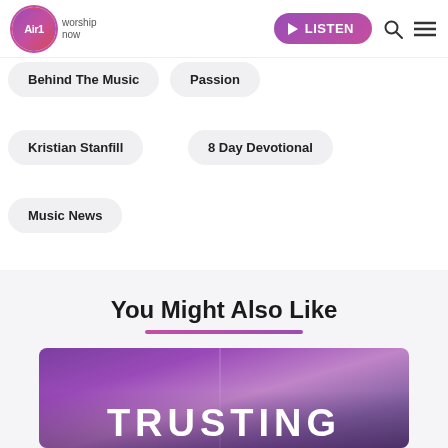Air1 worship now — LISTEN
Behind The Music
Passion
Kristian Stanfill
8 Day Devotional
Music News
You Might Also Like
[Figure (photo): Purple/violet atmospheric background image with bold text 'TRUSTING' in white uppercase letters]